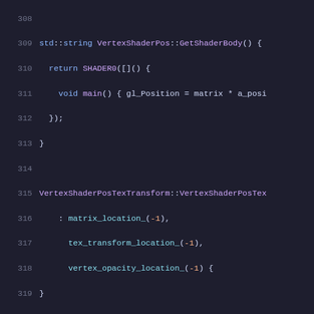Code listing lines 308-329 showing C++ shader code for VertexShaderPos and VertexShaderPosTexTransform classes